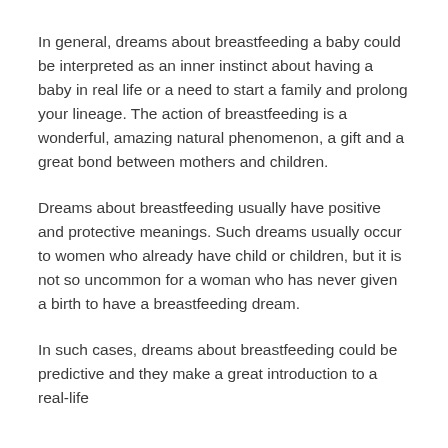In general, dreams about breastfeeding a baby could be interpreted as an inner instinct about having a baby in real life or a need to start a family and prolong your lineage. The action of breastfeeding is a wonderful, amazing natural phenomenon, a gift and a great bond between mothers and children.
Dreams about breastfeeding usually have positive and protective meanings. Such dreams usually occur to women who already have child or children, but it is not so uncommon for a woman who has never given a birth to have a breastfeeding dream.
In such cases, dreams about breastfeeding could be predictive and they make a great introduction to a real-life